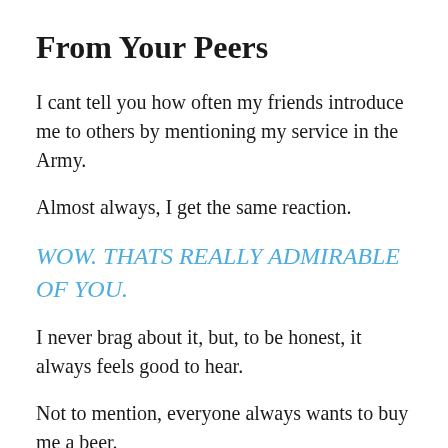From Your Peers
I cant tell you how often my friends introduce me to others by mentioning my service in the Army.
Almost always, I get the same reaction.
WOW. THATS REALLY ADMIRABLE OF YOU.
I never brag about it, but, to be honest, it always feels good to hear.
Not to mention, everyone always wants to buy me a beer.
Recommended Reading: